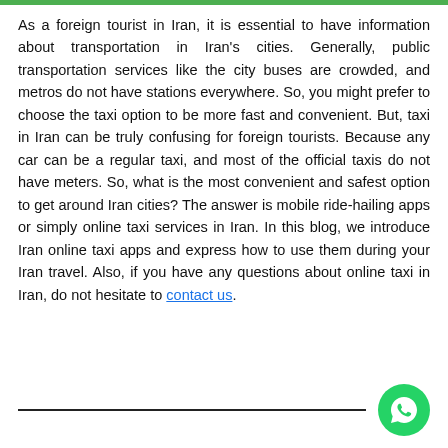As a foreign tourist in Iran, it is essential to have information about transportation in Iran's cities. Generally, public transportation services like the city buses are crowded, and metros do not have stations everywhere. So, you might prefer to choose the taxi option to be more fast and convenient. But, taxi in Iran can be truly confusing for foreign tourists. Because any car can be a regular taxi, and most of the official taxis do not have meters. So, what is the most convenient and safest option to get around Iran cities? The answer is mobile ride-hailing apps or simply online taxi services in Iran. In this blog, we introduce Iran online taxi apps and express how to use them during your Iran travel. Also, if you have any questions about online taxi in Iran, do not hesitate to contact us.